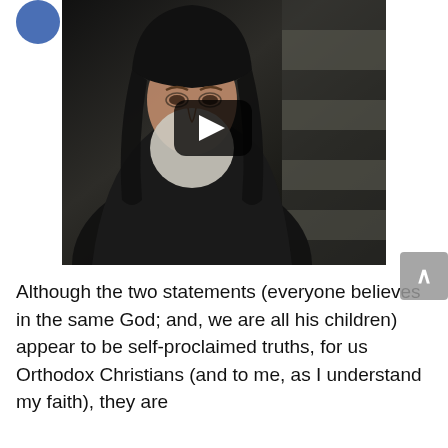[Figure (photo): Video thumbnail showing an elderly Orthodox Christian bishop or patriarch with a long white beard and black vestments/hat, with a YouTube-style play button overlay in the center.]
Although the two statements (everyone believes in the same God; and, we are all his children) appear to be self-proclaimed truths, for us Orthodox Christians (and to me, as I understand my faith), they are